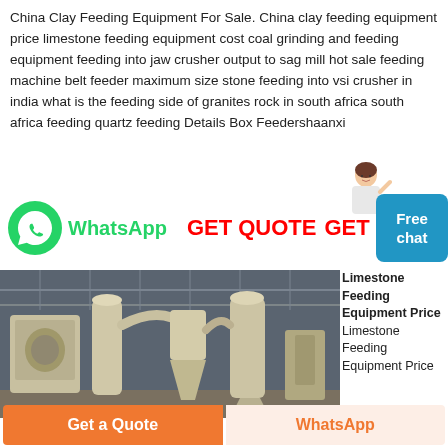China Clay Feeding Equipment For Sale. China clay feeding equipment price limestone feeding equipment cost coal grinding and feeding equipment feeding into jaw crusher output to sag mill hot sale feeding machine belt feeder maximum size stone feeding into vsi crusher in india what is the feeding side of granites rock in south africa south africa feeding quartz feeding Details Box Feedershaanxi
[Figure (infographic): WhatsApp logo (green circle with phone icon), WhatsApp text in green, GET QUOTE and GET PRICE buttons in red, Free chat box in blue, female avatar on right]
[Figure (photo): Industrial limestone feeding equipment inside a large warehouse/factory hall — white industrial machines and conveyor systems]
Limestone Feeding Equipment Price
Limestone Feeding Equipment Price
[Figure (other): Bottom bar with orange Get a Quote button and light orange WhatsApp button]